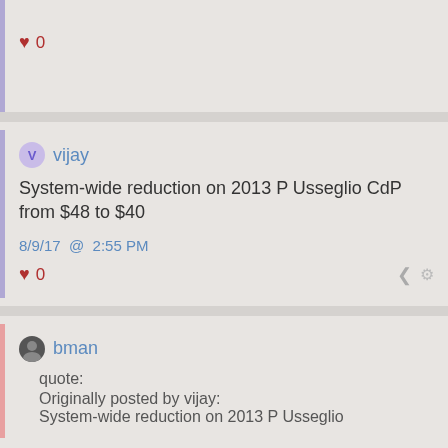♥ 0
vijay
System-wide reduction on 2013 P Usseglio CdP from $48 to $40
8/9/17 @ 2:55 PM
♥ 0
bman
quote:
Originally posted by vijay:
System-wide reduction on 2013 P Usseglio